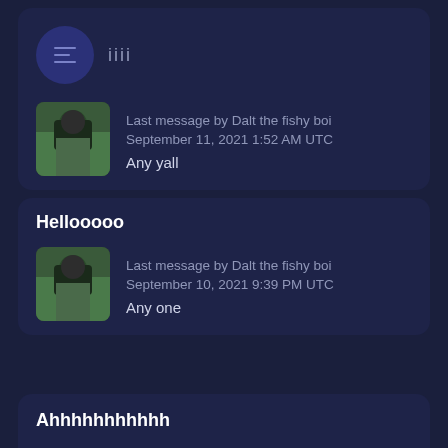[Figure (screenshot): Dark-themed messaging app UI showing a list of group chats with avatar, last message info, and message preview.]
iiii
Last message by Dalt the fishy boi
September 11, 2021 1:52 AM UTC
Any yall
Hellooooo
Last message by Dalt the fishy boi
September 10, 2021 9:39 PM UTC
Any one
Ahhhhhhhhhhh